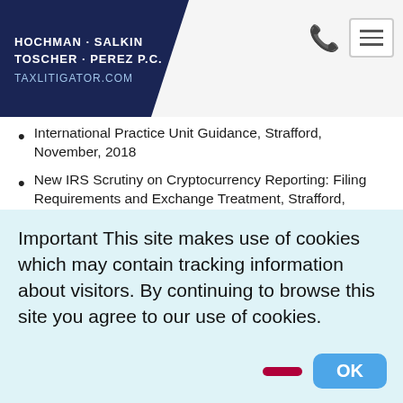HOCHMAN · SALKIN TOSCHER · PEREZ P.C. TAXLITIGATOR.COM
International Practice Unit Guidance, Strafford, November, 2018
New IRS Scrutiny on Cryptocurrency Reporting: Filing Requirements and Exchange Treatment, Strafford, October, 2018
Tax Enforcement Frontier: Crypto Currencies, STEP Los Angeles, July, 2018.
Tax Reporting of Bitcoin and Other Cryptocurrency:
Important This site makes use of cookies which may contain tracking information about visitors. By continuing to browse this site you agree to our use of cookies.